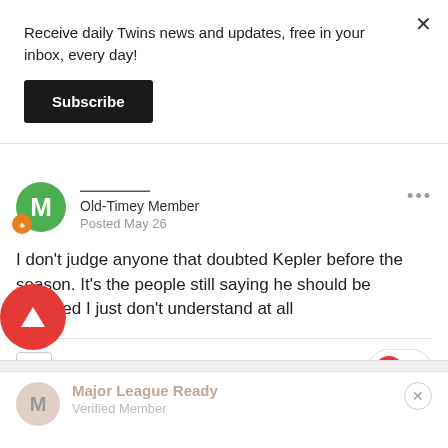Receive daily Twins news and updates, free in your inbox, every day!
Subscribe
Old-Timey Member
Posted May 26
I don't judge anyone that doubted Kepler before the season. It's the people still saying he should be replaced I just don't understand at all
Quote
2
Major League Ready
Verified Member